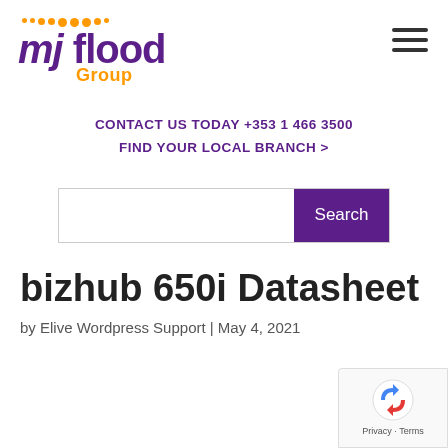[Figure (logo): MJ Flood Group logo with orange dots and purple text]
CONTACT US TODAY +353 1 466 3500
FIND YOUR LOCAL BRANCH >
[Figure (other): Search bar with purple Search button]
bizhub 650i Datasheet
by Elive Wordpress Support | May 4, 2021
[Figure (other): reCAPTCHA privacy badge in bottom right corner]